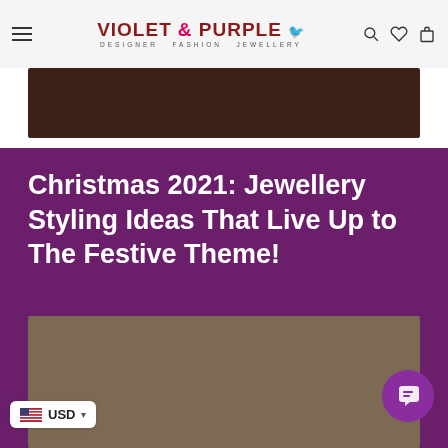Violet & Purple – Designer Fashion Jewellery
[Figure (photo): Dark brown banner image at the top of the article]
Christmas 2021: Jewellery Styling Ideas That Live Up to The Festive Theme!
[Figure (photo): Article featured image with brownish-grey background]
USD currency selector with US flag
[Figure (other): Chat widget button (purple circle with chat icon)]